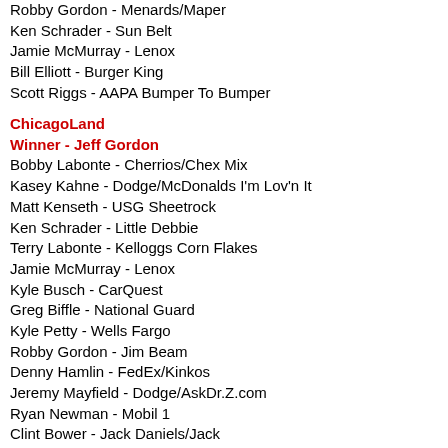Robby Gordon - Menards/Maper
Ken Schrader - Sun Belt
Jamie McMurray - Lenox
Bill Elliott - Burger King
Scott Riggs - AAPA Bumper To Bumper
ChicagoLand
Winner - Jeff Gordon
Bobby Labonte - Cherrios/Chex Mix
Kasey Kahne - Dodge/McDonalds I'm Lov'n It
Matt Kenseth - USG Sheetrock
Ken Schrader - Little Debbie
Terry Labonte - Kelloggs Corn Flakes
Jamie McMurray - Lenox
Kyle Busch - CarQuest
Greg Biffle - National Guard
Kyle Petty - Wells Fargo
Robby Gordon - Jim Beam
Denny Hamlin - FedEx/Kinkos
Jeremy Mayfield - Dodge/AskDr.Z.com
Ryan Newman - Mobil 1
Clint Bower - Jack Daniels/Jack
Bill Elliott - Burger King
Sterling Marlin - WM (Waste Management)
Pocano
Kyle Petty - Victory Junction Gang (Motorcycle Ride Across A
Ryan Newman - Mobil 1